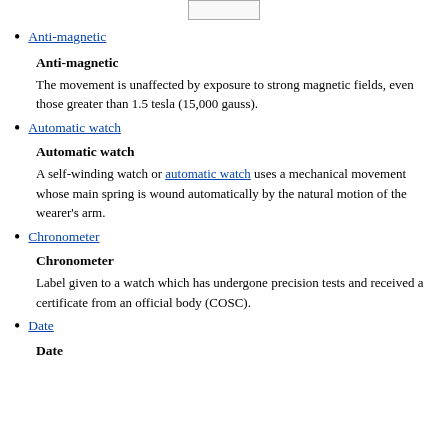[Figure (other): Small rectangular image/button at top of page]
Anti-magnetic
Anti-magnetic
The movement is unaffected by exposure to strong magnetic fields, even those greater than 1.5 tesla (15,000 gauss).
Automatic watch
Automatic watch
A self-winding watch or automatic watch uses a mechanical movement whose main spring is wound automatically by the natural motion of the wearer's arm.
Chronometer
Chronometer
Label given to a watch which has undergone precision tests and received a certificate from an official body (COSC).
Date
Date